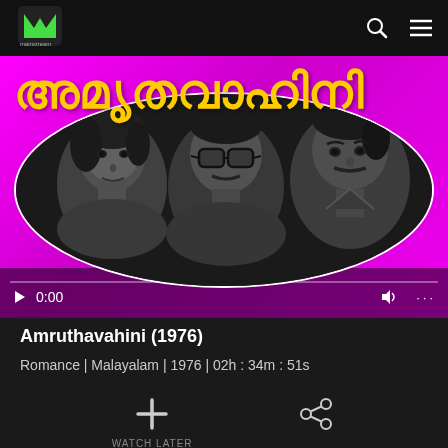[Figure (screenshot): Mainstream streaming app logo — green M icon with 'mainstream' text below]
[Figure (screenshot): Video player showing Amruthavahini (1976) Malayalam movie thumbnail. Magenta/pink background with Malayalam title text in yellow, black-and-white oval photo of three actors (woman on left, man with glasses in center, man on right). Video controls show play button, timestamp 0:00, volume icon, and progress bar.]
Amruthavahini (1976)
Romance | Malayalam | 1976 | 02h : 34m : 51s
[Figure (screenshot): Plus icon for Watch Later action]
[Figure (screenshot): Share icon (connected nodes)]
WATCH LATER